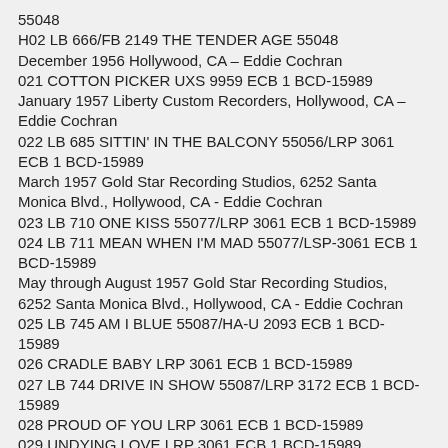55048
H02 LB 666/FB 2149 THE TENDER AGE 55048
December 1956 Hollywood, CA – Eddie Cochran
021 COTTON PICKER UXS 9959 ECB 1 BCD-15989
January 1957 Liberty Custom Recorders, Hollywood, CA – Eddie Cochran
022 LB 685 SITTIN' IN THE BALCONY 55056/LRP 3061 ECB 1 BCD-15989
March 1957 Gold Star Recording Studios, 6252 Santa Monica Blvd., Hollywood, CA - Eddie Cochran
023 LB 710 ONE KISS 55077/LRP 3061 ECB 1 BCD-15989
024 LB 711 MEAN WHEN I'M MAD 55077/LSP-3061 ECB 1 BCD-15989
May through August 1957 Gold Star Recording Studios, 6252 Santa Monica Blvd., Hollywood, CA - Eddie Cochran
025 LB 745 AM I BLUE 55087/HA-U 2093 ECB 1 BCD-15989
026 CRADLE BABY LRP 3061 ECB 1 BCD-15989
027 LB 744 DRIVE IN SHOW 55087/LRP 3172 ECB 1 BCD-15989
028 PROUD OF YOU LRP 3061 ECB 1 BCD-15989
029 UNDYING LOVE LRP 3061 ECB 1 BCD-15989